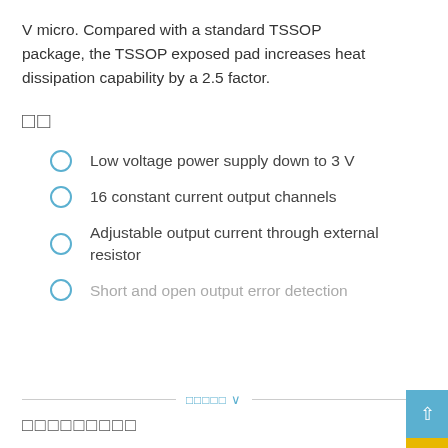V micro. Compared with a standard TSSOP package, the TSSOP exposed pad increases heat dissipation capability by a 2.5 factor.
□□
Low voltage power supply down to 3 V
16 constant current output channels
Adjustable output current through external resistor
Short and open output error detection
□□□□□
□□□□□□□□□